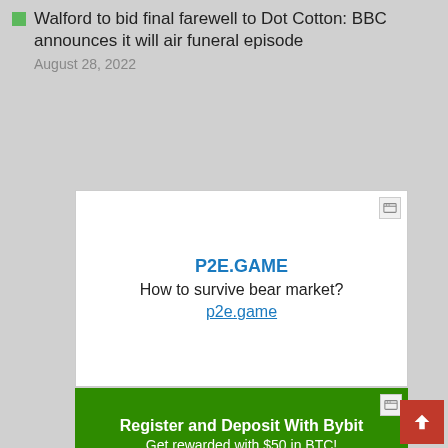Walford to bid final farewell to Dot Cotton: BBC announces it will air funeral episode
August 28, 2022
[Figure (other): Advertisement: P2E.GAME — How to survive bear market? p2e.game]
[Figure (other): Advertisement: Register and Deposit With Bybit — Get rewarded with $50 in BTC! d.adx.io]